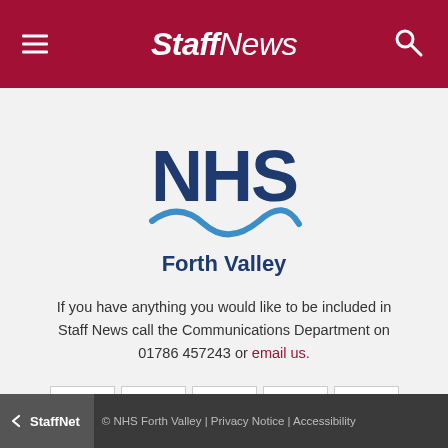Staff News
[Figure (logo): NHS Forth Valley logo — NHS in large dark blue bold text with a blue wave swoosh beneath, then 'Forth Valley' in dark blue text below]
If you have anything you would like to be included in Staff News call the Communications Department on 01786 457243 or email us.
[Figure (infographic): Row of 5 social media icon buttons: Facebook, Instagram, LinkedIn, Twitter, YouTube]
← StaffNet  © NHS Forth Valley | Privacy Notice | Accessibility